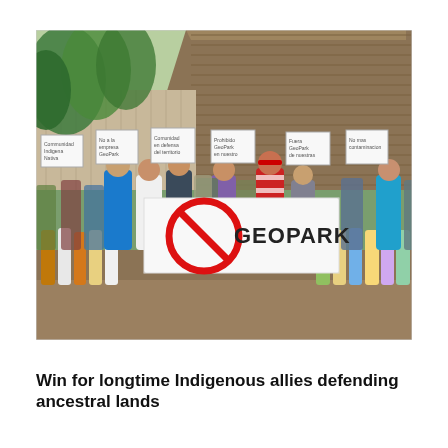[Figure (photo): A large group of indigenous community members, including men, women, and children, standing outdoors in front of a thatched-roof building surrounded by tropical vegetation. Several people hold handwritten signs. Two men in the center hold a large white banner with a red circle-slash symbol over the word 'GEOPARK', indicating protest against GeoPark oil company operations on their ancestral lands.]
Win for longtime Indigenous allies defending ancestral lands